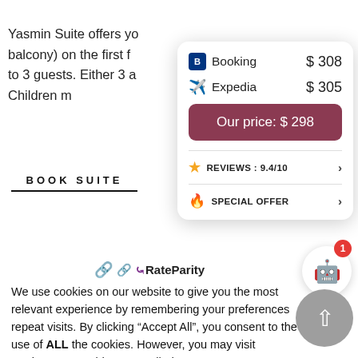Yasmin Suite offers yo... balcony) on the first f... to 3 guests. Either 3 a... Children m
BOOK SUITE
[Figure (screenshot): Price comparison card showing Booking ($308), Expedia ($305), and Our price ($298), with reviews 9.4/10 and Special Offer sections]
[Figure (logo): RateParity logo]
We use cookies on our website to give you the most relevant experience by remembering your preferences and repeat visits. By clicking "Accept All", you consent to the use of ALL the cookies. However, you may visit Cookie Settings" to provide a controlled consent.
Cookie Settings   Accept All   Reject All